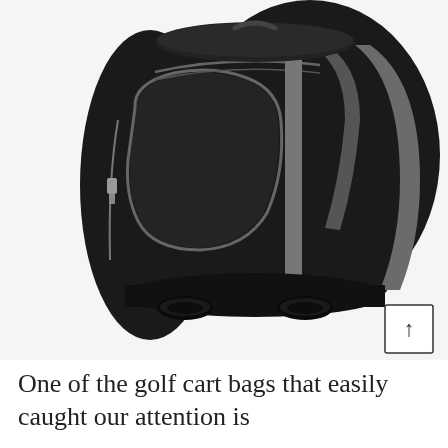[Figure (photo): Close-up photo of a black golf cart bag with grey zipper accents, showing multiple pockets including a large rounded front pocket and side pockets, with rubber feet visible at the bottom. A scroll-to-top button with an upward arrow is overlaid at the bottom-right of the image.]
One of the golf cart bags that easily caught our attention is